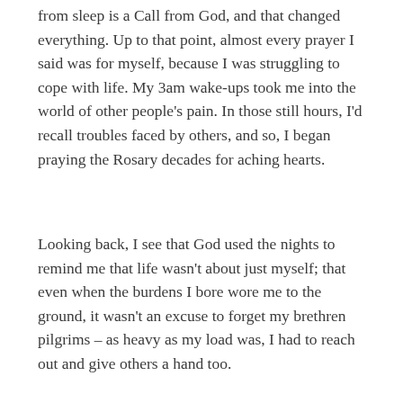from sleep is a Call from God, and that changed everything. Up to that point, almost every prayer I said was for myself, because I was struggling to cope with life. My 3am wake-ups took me into the world of other people's pain. In those still hours, I'd recall troubles faced by others, and so, I began praying the Rosary decades for aching hearts.
Looking back, I see that God used the nights to remind me that life wasn't about just myself; that even when the burdens I bore wore me to the ground, it wasn't an excuse to forget my brethren pilgrims – as heavy as my load was, I had to reach out and give others a hand too.